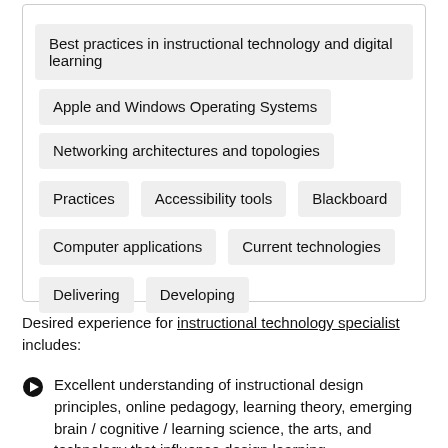Best practices in instructional technology and digital learning
Apple and Windows Operating Systems
Networking architectures and topologies
Practices
Accessibility tools
Blackboard
Computer applications
Current technologies
Delivering
Developing
Desired experience for instructional technology specialist includes:
Excellent understanding of instructional design principles, online pedagogy, learning theory, emerging brain / cognitive / learning science, the arts, and technology that influence design learning